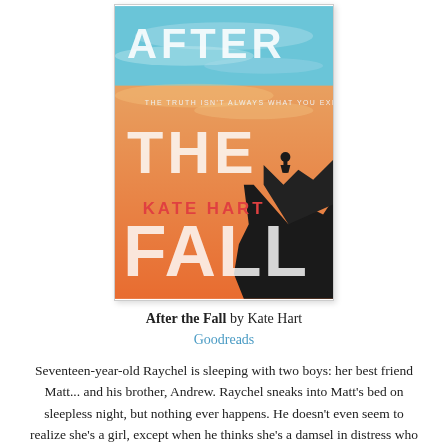[Figure (illustration): Book cover of 'After the Fall' by Kate Hart. Shows a dramatic sky with orange-tinted clouds, a silhouette of a person standing on a rocky cliff edge, and large distressed white lettering reading AFTER THE FALL. The subtitle reads 'The truth isn't always what you expect.' Author name KATE HART appears in red/coral text.]
After the Fall by Kate Hart
Goodreads
Seventeen-year-old Raychel is sleeping with two boys: her best friend Matt... and his brother, Andrew. Raychel sneaks into Matt's bed on sleepless night, but nothing ever happens. He doesn't even seem to realize she's a girl, except when he thinks she's a damsel in distress who needs his rescue. But Raychel doesn't want to be